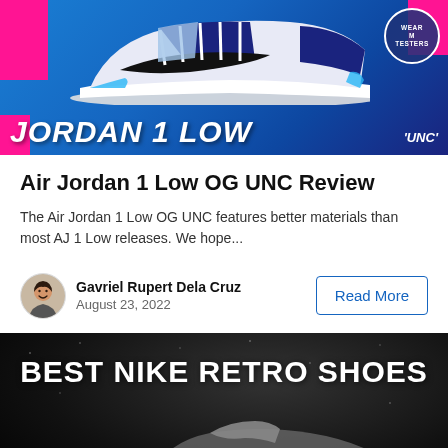[Figure (photo): Air Jordan 1 Low OG UNC promotional banner with blue background, pink accents, sneaker image, bold italic 'JORDAN 1 LOW' text, 'UNC' label, and Wear Testers badge]
Air Jordan 1 Low OG UNC Review
The Air Jordan 1 Low OG UNC features better materials than most AJ 1 Low releases. We hope...
Gavriel Rupert Dela Cruz
August 23, 2022
Read More
[Figure (photo): Best Nike Retro Shoes banner with black background, large white bold text 'BEST NIKE RETRO SHOES', and a partial shoe silhouette at the bottom]